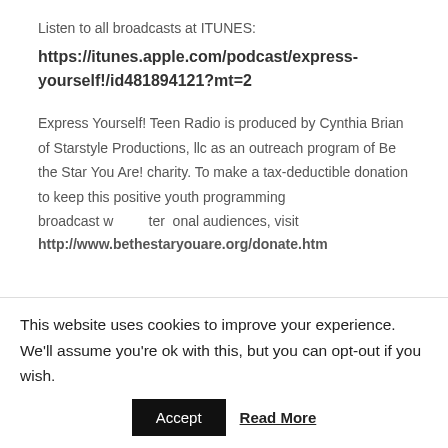Listen to all broadcasts at ITUNES:
https://itunes.apple.com/podcast/express-yourself!/id481894121?mt=2
Express Yourself! Teen Radio is produced by Cynthia Brian of Starstyle Productions, llc as an outreach program of Be the Star You Are! charity. To make a tax-deductible donation to keep this positive youth programming broadcast worldwide to international audiences, visit http://www.bethestaryouare.org/donate.htm
[Figure (infographic): Four social media/follow icons in a row: RSS (orange), FOLLOW (gray), Facebook (blue), Twitter (blue)]
This website uses cookies to improve your experience. We'll assume you're ok with this, but you can opt-out if you wish.
Accept  Read More